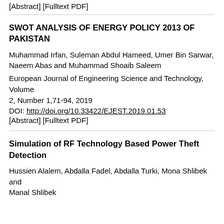[Abstract] [Fulltext PDF]
SWOT ANALYSIS OF ENERGY POLICY 2013 OF PAKISTAN
Muhammad Irfan, Suleman Abdul Hameed, Umer Bin Sarwar, Naeem Abas and Muhammad Shoaib Saleem
European Journal of Engineering Science and Technology, Volume 2, Number 1,71-94, 2019
DOI: http://doi.org/10.33422/EJEST.2019.01.53
[Abstract] [Fulltext PDF]
Simulation of RF Technology Based Power Theft Detection
Hussien Alalem, Abdalla Fadel, Abdalla Turki, Mona Shlibek and Manal Shlibek